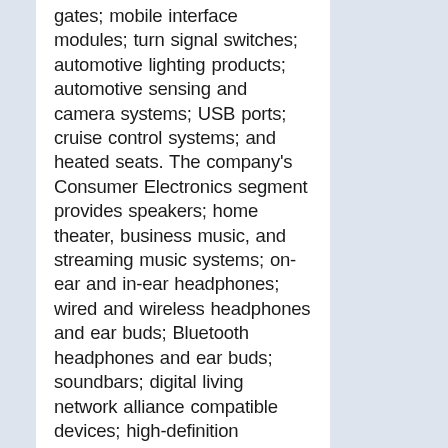gates; mobile interface modules; turn signal switches; automotive lighting products; automotive sensing and camera systems; USB ports; cruise control systems; and heated seats. The company's Consumer Electronics segment provides speakers; home theater, business music, and streaming music systems; on-ear and in-ear headphones; wired and wireless headphones and ear buds; Bluetooth headphones and ear buds; soundbars; digital living network alliance compatible devices; high-definition television and wireless fidelity antennas; high-definition multimedia interface accessories; karaoke